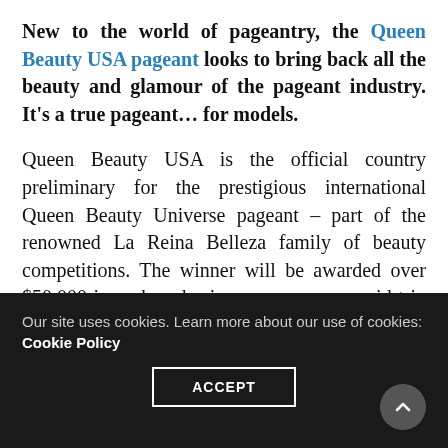New to the world of pageantry, the Queen Beauty USA pageant looks to bring back all the beauty and glamour of the pageant industry. It's a true pageant… for models.
Queen Beauty USA is the official country preliminary for the prestigious international Queen Beauty Universe pageant – part of the renowned La Reina Belleza family of beauty competitions. The winner will be awarded over $50,000 in cash and prizes; an expenses-paid trip to compete for the title of Queen Beauty Universe, and casting calls and auditions with
Our site uses cookies. Learn more about our use of cookies: Cookie Policy